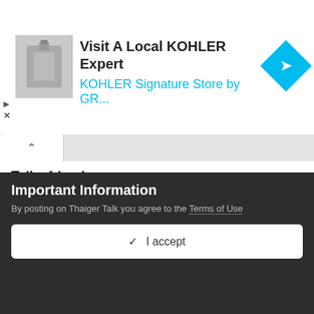[Figure (screenshot): Advertisement banner for KOHLER with product image, text 'Visit A Local KOHLER Expert' and 'KOHLER Signature Store by GR...' in cyan, plus a blue diamond-shaped navigation arrow icon.]
Tell a friend
Love Thaiger Talk? Tell a friend!
Email   Share
Important Information
By posting on Thaiger Talk you agree to the Terms of Use
✓ I accept